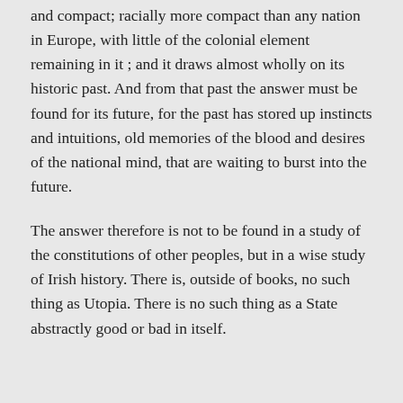and compact; racially more compact than any nation in Europe, with little of the colonial element remaining in it ; and it draws almost wholly on its historic past. And from that past the answer must be found for its future, for the past has stored up instincts and intuitions, old memories of the blood and desires of the national mind, that are waiting to burst into the future.
The answer therefore is not to be found in a study of the constitutions of other peoples, but in a wise study of Irish history. There is, outside of books, no such thing as Utopia. There is no such thing as a State abstractly good or bad in itself.